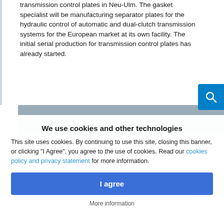transmission control plates in Neu-Ulm. The gasket specialist will be manufacturing separator plates for the hydraulic control of automatic and dual-clutch transmission systems for the European market at its own facility. The initial serial production for transmission control plates has already started.
[Figure (photo): Partial photo of industrial/automotive component, grey tones, partially visible]
We use cookies and other technologies
This site uses cookies. By continuing to use this site, closing this banner, or clicking "I Agree", you agree to the use of cookies. Read our cookies policy and privacy statement for more information.
I agree
More information